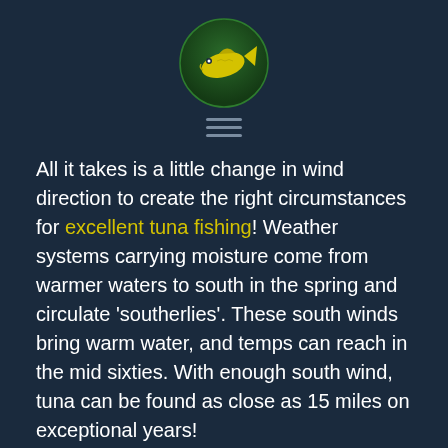[Figure (logo): Yellow fish icon on a dark green circular background, serving as a website logo]
[Figure (other): Hamburger menu icon with three horizontal lines]
All it takes is a little change in wind direction to create the right circumstances for excellent tuna fishing! Weather systems carrying moisture come from warmer waters to south in the spring and circulate 'southerlies'. These south winds bring warm water, and temps can reach in the mid sixties. With enough south wind, tuna can be found as close as 15 miles on exceptional years!
It is along the edge of warm and cold waters that the tuna thrive. Baitfish grow fat and oily here, and in